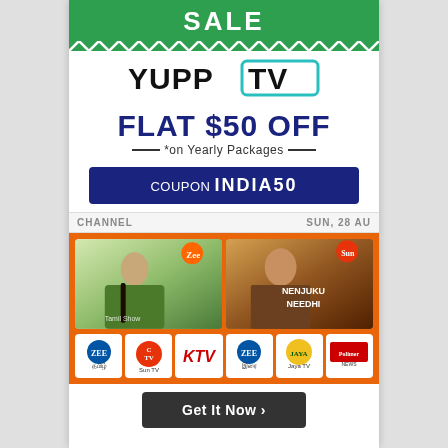SALE
[Figure (logo): YuppTV logo with teal border around TV]
FLAT $50 OFF
*on Yearly Packages
COUPON INDIA50
CHANNEL     SUN, 28 AU
[Figure (infographic): YuppTV sale advertisement showing Tamil TV shows and channel logos including Zee Tamil, Sun TV, KTV, Zee Irai, Jaya TV, Polimer News. Text: NENJUKU NEEDHI shown on right show image.]
Get It Now >